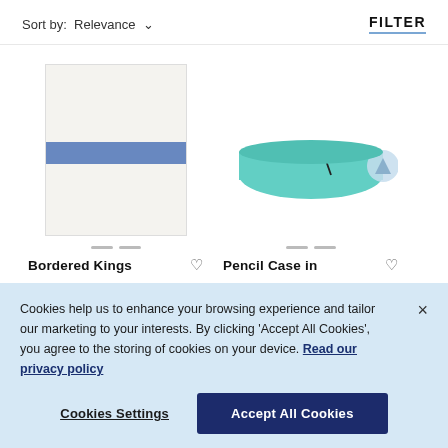Sort by: Relevance
FILTER
[Figure (photo): White notebook with blue horizontal stripe in the center, shown from front]
Bordered Kings
[Figure (photo): Teal/mint pencil case with zipper, shown from side with a scroll-up arrow button]
Pencil Case in
Cookies help us to enhance your browsing experience and tailor our marketing to your interests. By clicking 'Accept All Cookies', you agree to the storing of cookies on your device. Read our privacy policy
Cookies Settings
Accept All Cookies